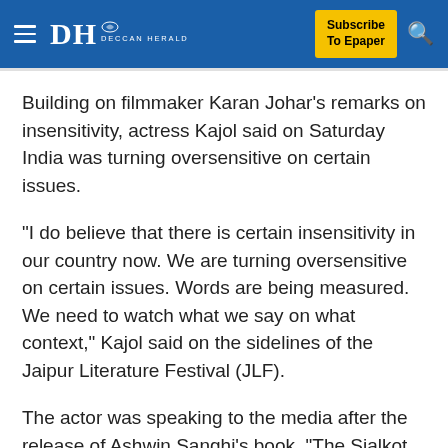Deccan Herald — Subscribe To Epaper
Building on filmmaker Karan Johar's remarks on insensitivity, actress Kajol said on Saturday India was turning oversensitive on certain issues.
"I do believe that there is certain insensitivity in our country now. We are turning oversensitive on certain issues. Words are being measured. We need to watch what we say on what context," Kajol said on the sidelines of the Jaipur Literature Festival (JLF).
The actor was speaking to the media after the release of Ashwin Sanghi's book, "The Sialkot Saga", which deals with the sub-continent's partition in 1947.